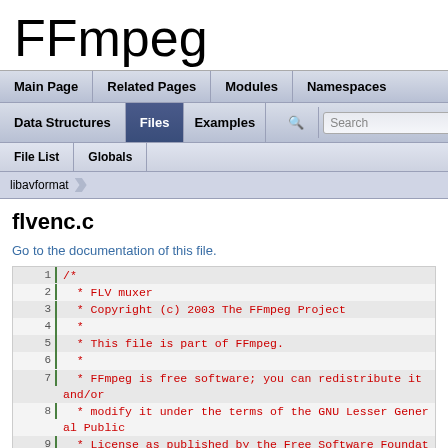FFmpeg
Main Page | Related Pages | Modules | Namespaces | Data Structures | Files | Examples | Search
File List | Globals
libavformat
flvenc.c
Go to the documentation of this file.
1  /*
2   * FLV muxer
3   * Copyright (c) 2003 The FFmpeg Project
4   *
5   * This file is part of FFmpeg.
6   *
7   * FFmpeg is free software; you can redistribute it and/or
8   * modify it under the terms of the GNU Lesser General Public
9   * License as published by the Free Software Foundation; either
10  * version 2.1 of the License, or (at your